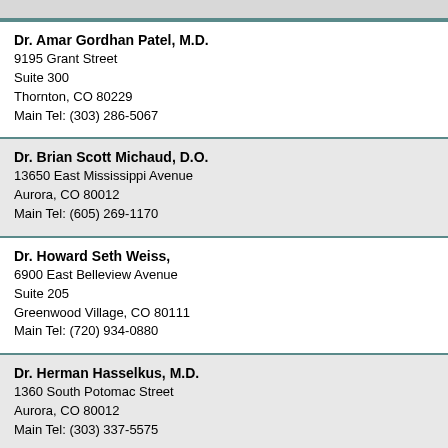Dr. Amar Gordhan Patel, M.D.
9195 Grant Street
Suite 300
Thornton, CO 80229
Main Tel: (303) 286-5067
Dr. Brian Scott Michaud, D.O.
13650 East Mississippi Avenue
Aurora, CO 80012
Main Tel: (605) 269-1170
Dr. Howard Seth Weiss,
6900 East Belleview Avenue
Suite 205
Greenwood Village, CO 80111
Main Tel: (720) 934-0880
Dr. Herman Hasselkus, M.D.
1360 South Potomac Street
Aurora, CO 80012
Main Tel: (303) 337-5575
Dr. David Christopher Baez, M.D.
Rocky Mountain Internal Medicine